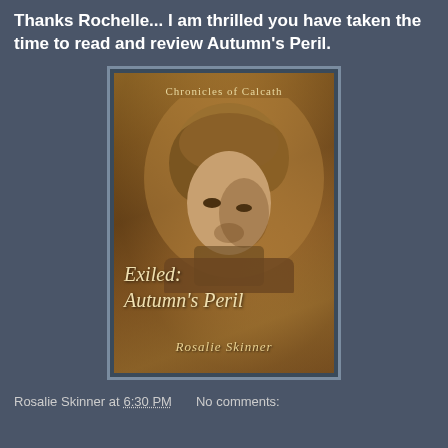Thanks Rochelle... I am thrilled you have taken the time to read and review Autumn's Peril.
[Figure (photo): Book cover image for 'Exiled: Autumn's Peril' from the Chronicles of Calcath series by Rosalie Skinner, showing a young man with medium-length blonde/brown hair looking downward, set against a warm golden-brown textured background.]
Rosalie Skinner at 6:30 PM   No comments: